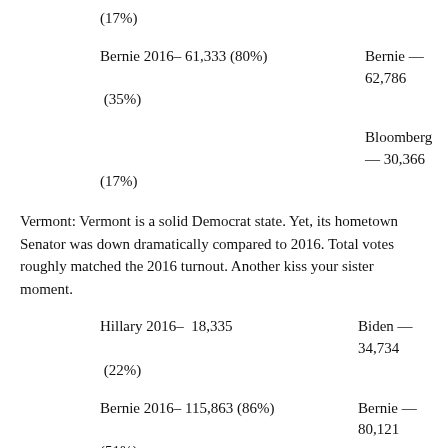(17%)
Bernie 2016– 61,333 (80%)    Bernie — 62,786
 (35%)
Bloomberg — 30,366
(17%)
Vermont: Vermont is a solid Democrat state. Yet, its hometown Senator was down dramatically compared to 2016. Total votes roughly matched the 2016 turnout. Another kiss your sister moment.
Hillary 2016–  18,335    Biden — 34,734
 (22%)
Bernie 2016– 115,863 (86%)    Bernie — 80,121
(51%)